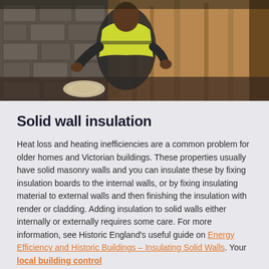[Figure (photo): A worker in a yellow high-visibility vest kneeling down, working on floor insulation inside a building with stone/concrete block walls and exposed earth/insulation material visible.]
Solid wall insulation
Heat loss and heating inefficiencies are a common problem for older homes and Victorian buildings. These properties usually have solid masonry walls and you can insulate these by fixing insulation boards to the internal walls, or by fixing insulating material to external walls and then finishing the insulation with render or cladding. Adding insulation to solid walls either internally or externally requires some care. For more information, see Historic England's useful guide on Energy Efficiency and Historic Buildings – Insulating Solid Walls. Your local building control